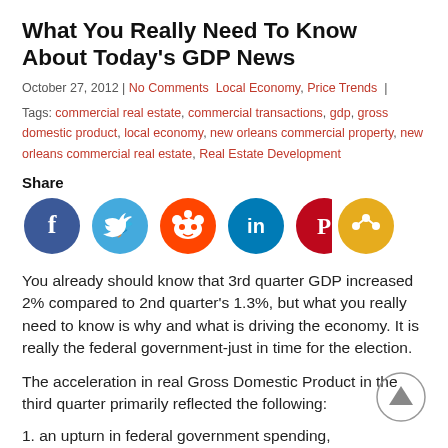What You Really Need To Know About Today's GDP News
October 27, 2012 | No Comments  Local Economy, Price Trends  |
Tags: commercial real estate, commercial transactions, gdp, gross domestic product, local economy, new orleans commercial property, new orleans commercial real estate, Real Estate Development
Share
[Figure (infographic): Six social media share icon buttons: Facebook (dark blue), Twitter (light blue), Reddit (orange), LinkedIn (teal), Pinterest (dark red), and a general share button (orange/yellow).]
You already should know that 3rd quarter GDP increased 2% compared to 2nd quarter's 1.3%, but what you really need to know is why and what is driving the economy. It is really the federal government-just in time for the election.
The acceleration in real Gross Domestic Product in the third quarter primarily reflected the following:
1. an upturn in federal government spending,